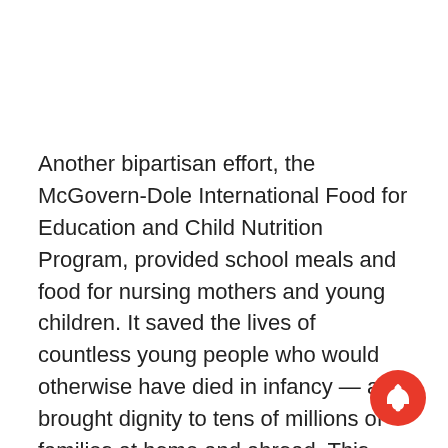Another bipartisan effort, the McGovern-Dole International Food for Education and Child Nutrition Program, provided school meals and food for nursing mothers and young children. It saved the lives of countless young people who would otherwise have died in infancy — and brought dignity to tens of millions of families at home and abroad. This work, for Bob, was about more than passing laws. It was written on his heart.
[Figure (illustration): Red circular notification bell icon in the bottom-right corner]